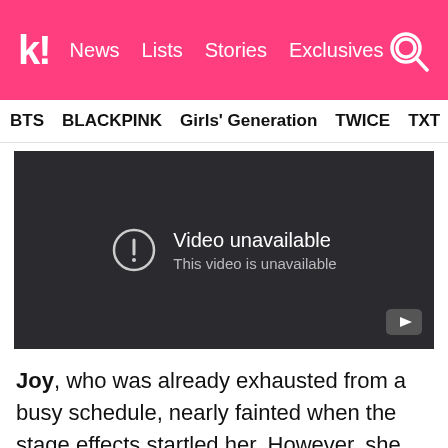k! News  Lists  Stories  Exclusives
BTS  BLACKPINK  Girls' Generation  TWICE  TXT  SEVE…
[Figure (screenshot): Embedded YouTube video player showing 'Video unavailable — This video is unavailable' message on a dark background with a YouTube logo icon in the bottom right corner.]
Joy, who was already exhausted from a busy schedule, nearly fainted when the stage effects startled her. However, she managed to get up